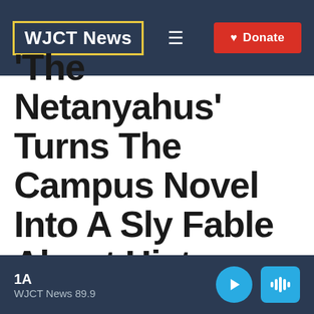WJCT News
'The Netanyahus' Turns The Campus Novel Into A Sly Fable About History
1A
WJCT News 89.9